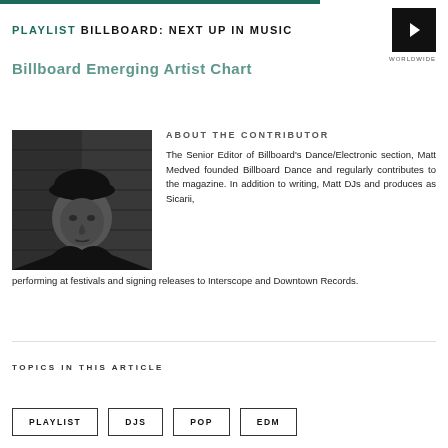PLAYLIST BILLBOARD: NEXT UP IN MUSIC
Billboard Emerging Artist Chart
[Figure (photo): Black and white headshot of Matt Medved wearing a cap]
ABOUT THE CONTRIBUTOR
The Senior Editor of Billboard's Dance/Electronic section, Matt Medved founded Billboard Dance and regularly contributes to the magazine. In addition to writing, Matt DJs and produces as Sicarii, performing at festivals and signing releases to Interscope and Downtown Records.
TOPICS IN THIS ARTICLE
PLAYLIST
DJS
POP
EDM